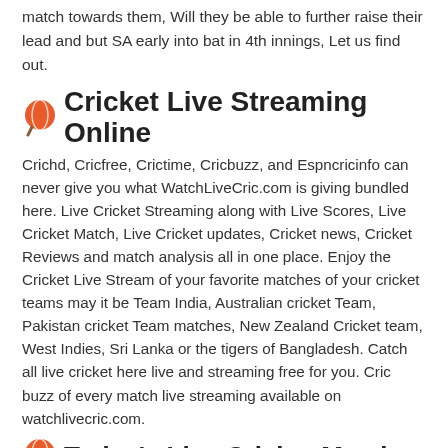match towards them, Will they be able to further raise their lead and but SA early into bat in 4th innings, Let us find out.
Cricket Live Streaming Online
Crichd, Cricfree, Crictime, Cricbuzz, and Espncricinfo can never give you what WatchLiveCric.com is giving bundled here. Live Cricket Streaming along with Live Scores, Live Cricket Match, Live Cricket updates, Cricket news, Cricket Reviews and match analysis all in one place. Enjoy the Cricket Live Stream of your favorite matches of your cricket teams may it be Team India, Australian cricket Team, Pakistan cricket Team matches, New Zealand Cricket team, West Indies, Sri Lanka or the tigers of Bangladesh. Catch all live cricket here live and streaming free for you. Cric buzz of every match live streaming available on watchlivecric.com.
Today's Live Cricket Match
Watch live cricket streaming on your favorite channels like